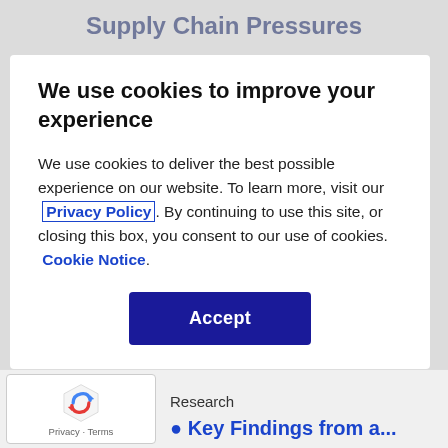Supply Chain Pressures
We use cookies to improve your experience
We use cookies to deliver the best possible experience on our website. To learn more, visit our  Privacy Policy . By continuing to use this site, or closing this box, you consent to our use of cookies.  Cookie Notice .
Accept
Research
Key Findings from a...